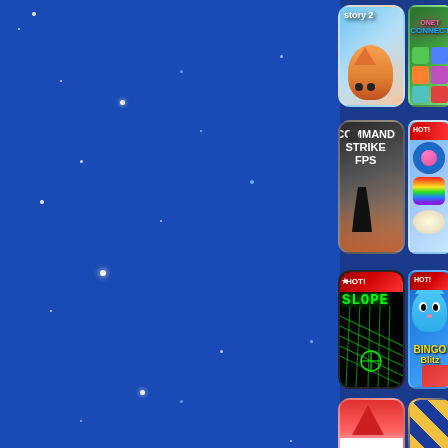[Figure (screenshot): Game browser app page showing game thumbnails on dark blue starry background. Visible games include: Fox Story 2, Onet Connect Classic, Command Strike FPS, Candy/sweet 3D match game, Slope (green neon grid), Bingo Blitz, Santa game partial, and striped game partial.]